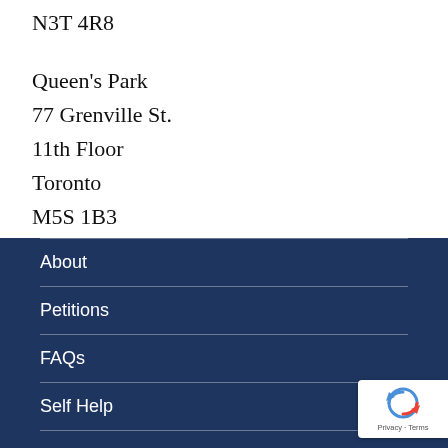N3T 4R8

Queen's Park
77 Grenville St.
11th Floor
Toronto
M5S 1B3
About
Petitions
FAQs
Self Help